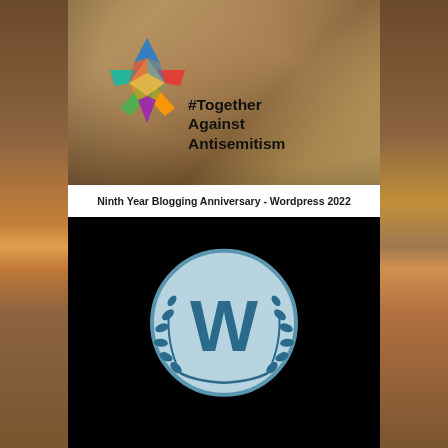[Figure (illustration): Colorful Together Against Antisemitism campaign image with a multi-colored star/people logo and text '#Together Against Antisemitism' overlaid on a figure with dark hair]
Ninth Year Blogging Anniversary - Wordpress 2022
[Figure (logo): WordPress logo (W letter with laurel wreath in a circle) on black background - Ninth Year Blogging Anniversary badge]